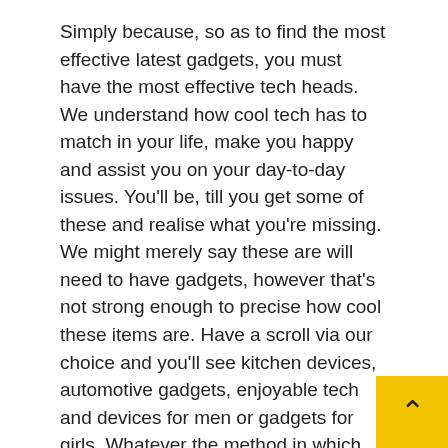Simply because, so as to find the most effective latest gadgets, you must have the most effective tech heads. We understand how cool tech has to match in your life, make you happy and assist you on your day-to-day issues. You'll be, till you get some of these and realise what you're missing. We might merely say these are will need to have gadgets, however that's not strong enough to precise how cool these items are. Have a scroll via our choice and you'll see kitchen devices, automotive gadgets, enjoyable tech and devices for men or gadgets for girls. Whatever the method in which you want it, we're positive this vary will impress you.
Cool Gadget Gifts
It had the primary selfie digicam on an iPhone, and the 5-megapixel digicam on the again set a photograph quality standard that took years for the competitors to match. The operating system gained the power to run background tasks and was formally named "iOS" for the first time. The